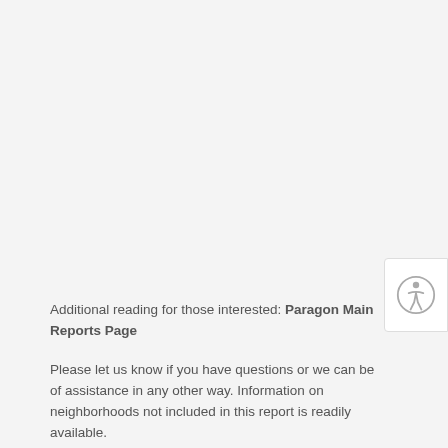[Figure (other): Accessibility icon (person in circle) in white box at top right]
Additional reading for those interested: Paragon Main Reports Page
Please let us know if you have questions or we can be of assistance in any other way. Information on neighborhoods not included in this report is readily available.
It is impossible to know how median and average value statistics apply to any particular home without a specific, tailored, comparative market analysis. In real estate, the devil is always in the details.
These analyses were made in good faith with data from sources